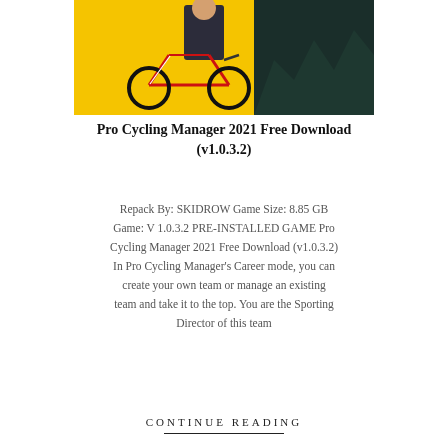[Figure (illustration): Promotional game cover art showing a person in a suit standing next to a red road bicycle against a yellow background with dark accents]
Pro Cycling Manager 2021 Free Download (v1.0.3.2)
Repack By: SKIDROW Game Size: 8.85 GB Game: V 1.0.3.2 PRE-INSTALLED GAME Pro Cycling Manager 2021 Free Download (v1.0.3.2) In Pro Cycling Manager's Career mode, you can create your own team or manage an existing team and take it to the top. You are the Sporting Director of this team
CONTINUE READING